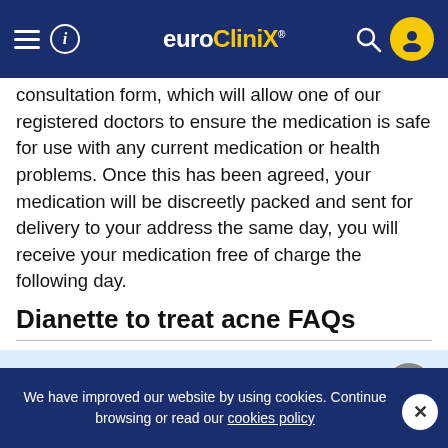euroClinix
consultation form, which will allow one of our registered doctors to ensure the medication is safe for use with any current medication or health problems. Once this has been agreed, your medication will be discreetly packed and sent for delivery to your address the same day, you will receive your medication free of charge the following day.
Dianette to treat acne FAQs
What is Dianette used for?
Start Consultation →
Do Dianette...
We have improved our website by using cookies. Continue browsing or read our cookies policy